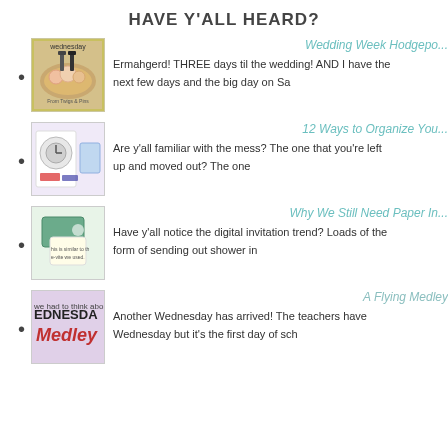HAVE Y'ALL HEARD?
Wedding Week Hodgepo...
Ermahgerd! THREE days til the wedding! AND I have the next few days and the big day on Sa
12 Ways to Organize You...
Are y'all familiar with the mess? The one that you're left up and moved out? The one
Why We Still Need Paper In...
Have y'all notice the digital invitation trend? Loads of the form of sending out shower in
A Flying Medley
Another Wednesday has arrived! The teachers have Wednesday but it's the first day of sch